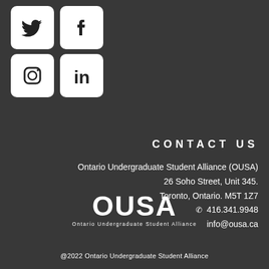[Figure (illustration): Social media icons: Twitter, Facebook (top row), Instagram, LinkedIn (bottom row) in white rounded square boxes on dark background]
CONTACT US
Ontario Undergraduate Student Alliance (OUSA)
26 Soho Street, Unit 345.
Toronto, Ontario. M5T 1Z7
☎ 416.341.9948
info@ousa.ca
[Figure (logo): OUSA logo with large wordmark 'OUSA' and tagline 'Ontario Undergraduate Student Alliance']
@2022 Ontario Undergraduate Student Alliance